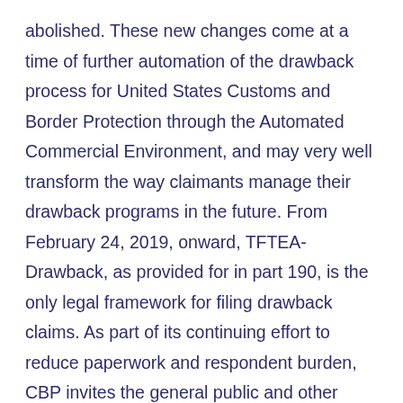abolished. These new changes come at a time of further automation of the drawback process for United States Customs and Border Protection through the Automated Commercial Environment, and may very well transform the way claimants manage their drawback programs in the future. From February 24, 2019, onward, TFTEA-Drawback, as provided for in part 190, is the only legal framework for filing drawback claims. As part of its continuing effort to reduce paperwork and respondent burden, CBP invites the general public and other Federal agencies to comment on an information collection requirement concerning the Drawback Process Regulations (CBP Forms 7551, 7552 and 7553). Therefore, the level of detail and volume of